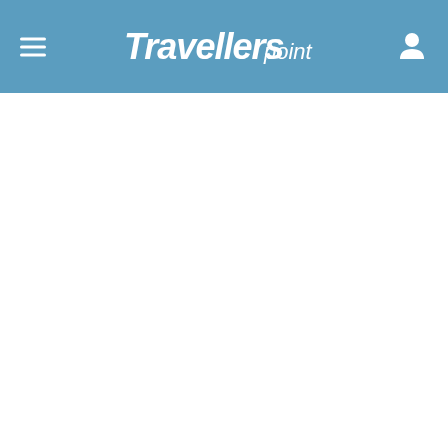Travellerspoint
[Figure (other): White blank content area below the Travellerspoint navigation header]